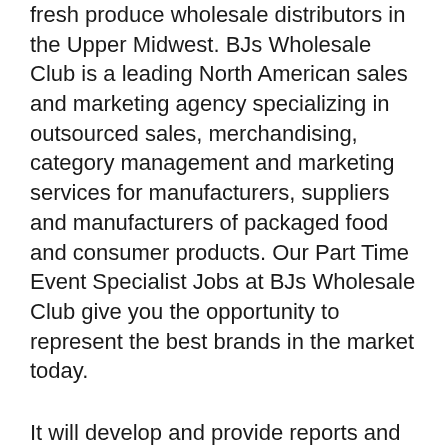fresh produce wholesale distributors in the Upper Midwest. BJs Wholesale Club is a leading North American sales and marketing agency specializing in outsourced sales, merchandising, category management and marketing services for manufacturers, suppliers and manufacturers of packaged food and consumer products. Our Part Time Event Specialist Jobs at BJs Wholesale Club give you the opportunity to represent the best brands in the market today.
It will develop and provide reports and presentations to management, regulators and even the Board of Directors with vital decision-making information that will contribute to the effective development and management of LCRA's wholesale business. Our candidate is an experienced leader who can communicate effectively with all levels of the organization, including wholesale customers and